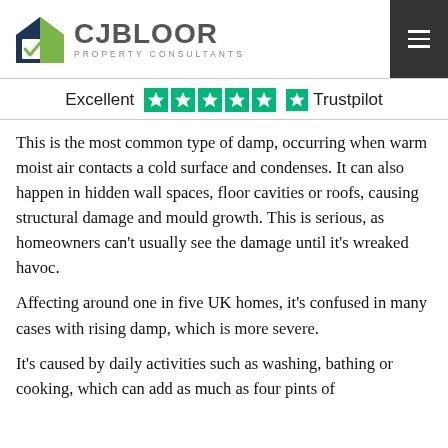[Figure (logo): CJ Bloor Property Consultants logo with house icon and hamburger menu button]
Excellent ★★★★★ Trustpilot
This is the most common type of damp, occurring when warm moist air contacts a cold surface and condenses. It can also happen in hidden wall spaces, floor cavities or roofs, causing structural damage and mould growth. This is serious, as homeowners can't usually see the damage until it's wreaked havoc.
Affecting around one in five UK homes, it's confused in many cases with rising damp, which is more severe.
It's caused by daily activities such as washing, bathing or cooking, which can add as much as four pints of